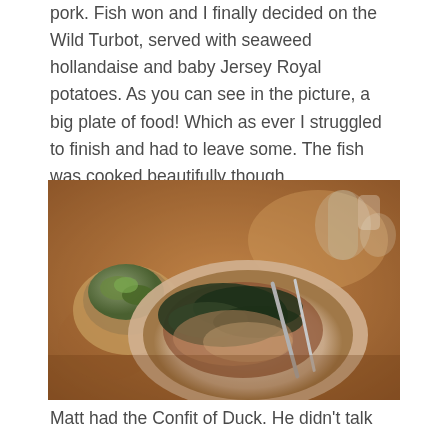pork. Fish won and I finally decided on the Wild Turbot, served with seaweed hollandaise and baby Jersey Royal potatoes. As you can see in the picture, a big plate of food! Which as ever I struggled to finish and had to leave some. The fish was cooked beautifully though.
[Figure (photo): A restaurant dinner plate with fish (Wild Turbot) topped with dark greens (seaweed), served on a white plate on a table. A side dish with green salad is visible on the left, and glassware is visible in the background. The image is warm-toned and dimly lit.]
Matt had the Confit of Duck. He didn't talk